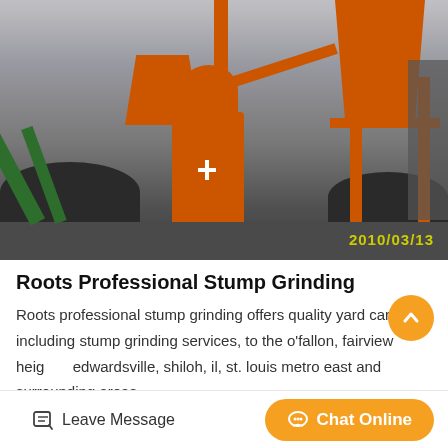[Figure (photo): Industrial orange grinding/milling machine equipment photographed outdoors at an industrial site. Multiple orange hoppers, pipes, and support structures visible. Green conveyor belt on left side. Dark ground/coal visible. Timestamp 2010/03/13 in yellow at bottom right.]
Roots Professional Stump Grinding
Roots professional stump grinding offers quality yard care, including stump grinding services, to the o'fallon, fairview heights, edwardsville, shiloh, il, st. louis metro east and surrounding areas…
Leave Message
Chat Online